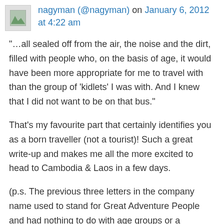nagyman (@nagyman) on January 6, 2012 at 4:22 am
“…all sealed off from the air, the noise and the dirt, filled with people who, on the basis of age, it would have been more appropriate for me to travel with than the group of ‘kidlets’ I was with. And I knew that I did not want to be on that bus.”
That’s my favourite part that certainly identifies you as a born traveller (not a tourist)! Such a great write-up and makes me all the more excited to head to Cambodia & Laos in a few days.
(p.s. The previous three letters in the company name used to stand for Great Adventure People and had nothing to do with age groups or a